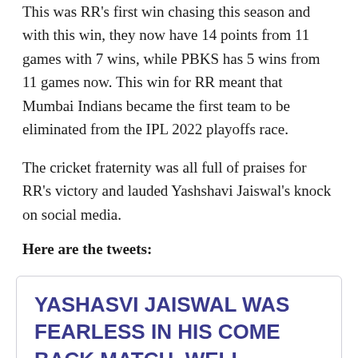This was RR's first win chasing this season and with this win, they now have 14 points from 11 games with 7 wins, while PBKS has 5 wins from 11 games now. This win for RR meant that Mumbai Indians became the first team to be eliminated from the IPL 2022 playoffs race.
The cricket fraternity was all full of praises for RR's victory and lauded Yashshavi Jaiswal's knock on social media.
Here are the tweets:
[Figure (screenshot): Tweet screenshot with text: YASHASVI JAISWAL WAS FEARLESS IN HIS COME BACK MATCH. WELL PLAYED YOUNG MAN ???? by IRFAN PATHAN]